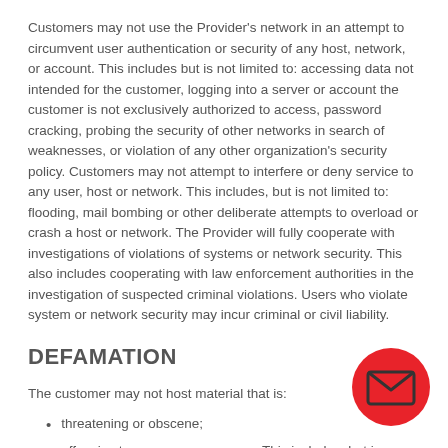Customers may not use the Provider's network in an attempt to circumvent user authentication or security of any host, network, or account. This includes but is not limited to: accessing data not intended for the customer, logging into a server or account the customer is not exclusively authorized to access, password cracking, probing the security of other networks in search of weaknesses, or violation of any other organization's security policy. Customers may not attempt to interfere or deny service to any user, host or network. This includes, but is not limited to: flooding, mail bombing or other deliberate attempts to overload or crash a host or network. The Provider will fully cooperate with investigations of violations of systems or network security. This also includes cooperating with law enforcement authorities in the investigation of suspected criminal violations. Users who violate system or network security may incur criminal or civil liability.
DEFAMATION
The customer may not host material that is:
threatening or obscene;
offensive to any person or group. This includes, but is